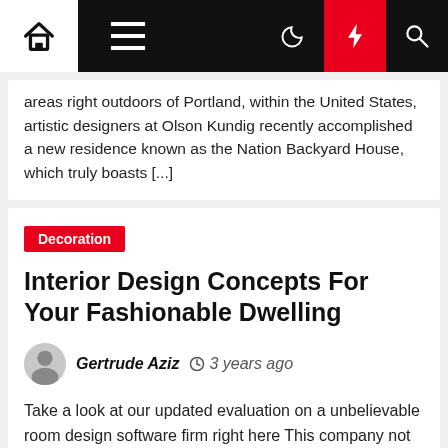Navigation bar with home, menu, dark mode, lightning, and search icons
areas right outdoors of Portland, within the United States, artistic designers at Olson Kundig recently accomplished a new residence known as the Nation Backyard House, which truly boasts [...]
Decoration
Interior Design Concepts For Your Fashionable Dwelling
Gertrude Aziz  3 years ago
Take a look at our updated evaluation on a unbelievable room design software firm right here This company not only designs your area, but allows you to purchase the furnishings and decor